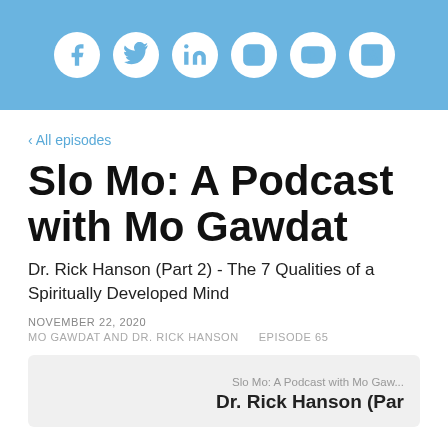[Figure (other): Social media icon bar with Facebook, Twitter, LinkedIn, Instagram, YouTube, and RSS/Stitcher icons on a light blue background]
‹ All episodes
Slo Mo: A Podcast with Mo Gawdat
Dr. Rick Hanson (Part 2) - The 7 Qualities of a Spiritually Developed Mind
NOVEMBER 22, 2020
MO GAWDAT AND DR. RICK HANSON    EPISODE 65
[Figure (screenshot): Podcast player embed showing 'Slo Mo: A Podcast with Mo Gaw...' and 'Dr. Rick Hanson (Par' in bold on a light gray background]